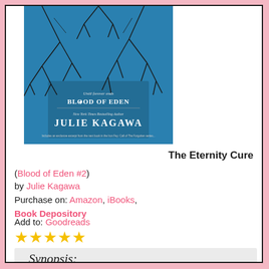[Figure (illustration): Book cover for 'The Eternity Cure' from the Blood of Eden series by Julie Kagawa. Blue background with dark tree branches. Text reads 'Until forever ends BLOOD OF EDEN' and 'New York Times Bestselling Author JULIE KAGAWA'. Small text at bottom about an exclusive excerpt.]
The Eternity Cure
(Blood of Eden #2)
by Julie Kagawa
Purchase on: Amazon, iBooks, Book Depository
Add to: Goodreads
★★★★★
Synopsis:
In Allison Sekemoto's world, there is one